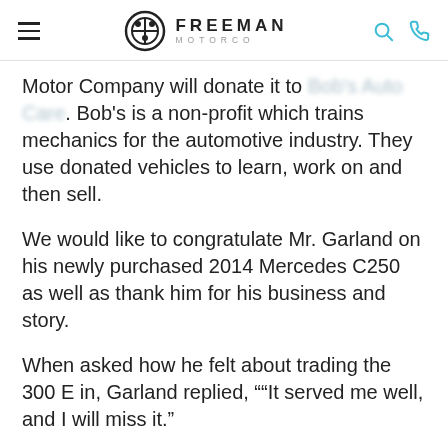FREEMAN MOTORCO
Motor Company will donate it to [Bob's Auto Care]. Bob's is a non-profit which trains mechanics for the automotive industry. They use donated vehicles to learn, work on and then sell.
We would like to congratulate Mr. Garland on his newly purchased 2014 Mercedes C250 as well as thank him for his business and story.
When asked how he felt about trading the 300 E in, Garland replied, "“It served me well, and I will miss it."